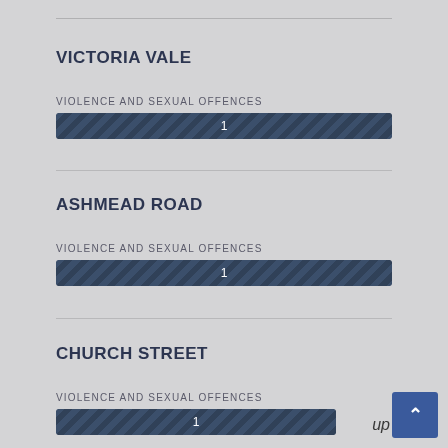VICTORIA VALE
VIOLENCE AND SEXUAL OFFENCES
[Figure (bar-chart): Violence and Sexual Offences - Victoria Vale]
ASHMEAD ROAD
VIOLENCE AND SEXUAL OFFENCES
[Figure (bar-chart): Violence and Sexual Offences - Ashmead Road]
CHURCH STREET
VIOLENCE AND SEXUAL OFFENCES
[Figure (bar-chart): Violence and Sexual Offences - Church Street]